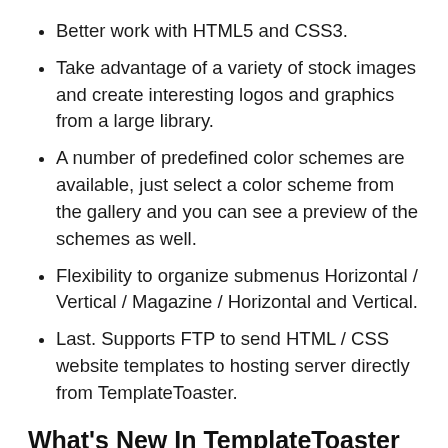Better work with HTML5 and CSS3.
Take advantage of a variety of stock images and create interesting logos and graphics from a large library.
A number of predefined color schemes are available, just select a color scheme from the gallery and you can see a preview of the schemes as well.
Flexibility to organize submenus Horizontal / Vertical / Magazine / Horizontal and Vertical.
Last. Supports FTP to send HTML / CSS website templates to hosting server directly from TemplateToaster.
What's New In TemplateToaster